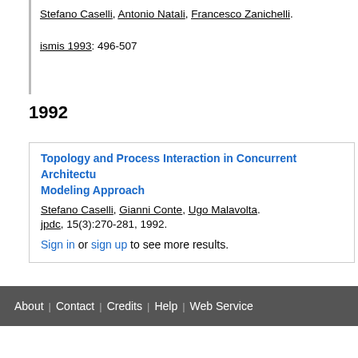Stefano Caselli, Antonio Natali, Francesco Zanichelli.
ismis 1993: 496-507
1992
Topology and Process Interaction in Concurrent Architectu... Modeling Approach
Stefano Caselli, Gianni Conte, Ugo Malavolta.
jpdc, 15(3):270-281, 1992.
Sign in or sign up to see more results.
About | Contact | Credits | Help | Web Service